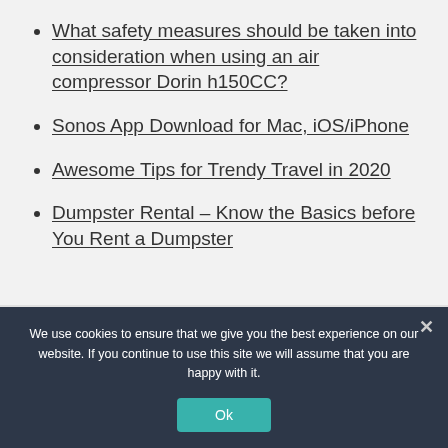What safety measures should be taken into consideration when using an air compressor Dorin h150CC?
Sonos App Download for Mac, iOS/iPhone
Awesome Tips for Trendy Travel in 2020
Dumpster Rental – Know the Basics before You Rent a Dumpster
We use cookies to ensure that we give you the best experience on our website. If you continue to use this site we will assume that you are happy with it.